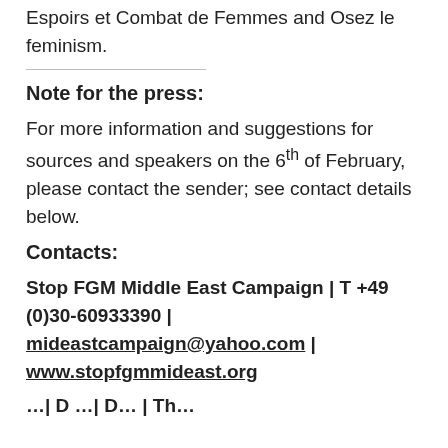Espoirs et Combat de Femmes and Osez le feminism.
Note for the press:
For more information and suggestions for sources and speakers on the 6th of February, please contact the sender; see contact details below.
Contacts:
Stop FGM Middle East Campaign | T +49 (0)30-60933390 | mideastcampaign@yahoo.com | www.stopfgmmideast.org
…| D …